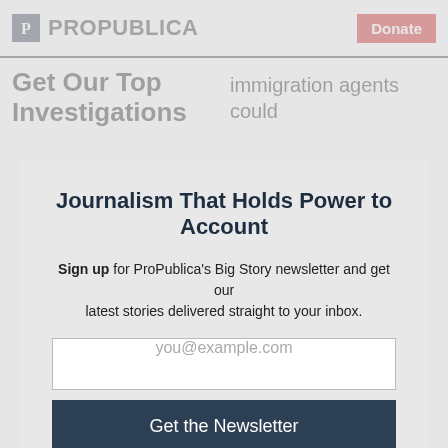ProPublica | Donate
Get Our Top Investigations
immigration agents could
Journalism That Holds Power to Account
Sign up for ProPublica's Big Story newsletter and get our latest stories delivered straight to your inbox.
you@example.com
Get the Newsletter
No thanks, I'm all set
This site is protected by reCAPTCHA and the Google Privacy Policy and Terms of Service apply.